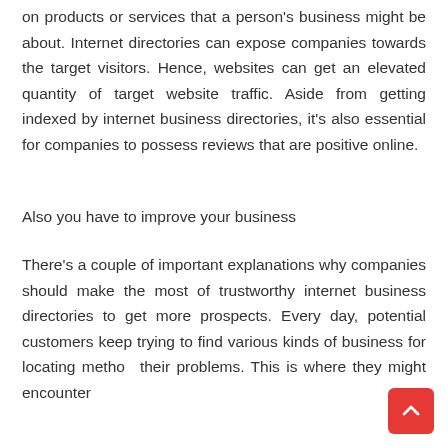on products or services that a person's business might be about. Internet directories can expose companies towards the target visitors. Hence, websites can get an elevated quantity of target website traffic. Aside from getting indexed by internet business directories, it's also essential for companies to possess reviews that are positive online.
Also you have to improve your business
There's a couple of important explanations why companies should make the most of trustworthy internet business directories to get more prospects. Every day, potential customers keep trying to find various kinds of business for locating methods their problems. This is where they might encounter